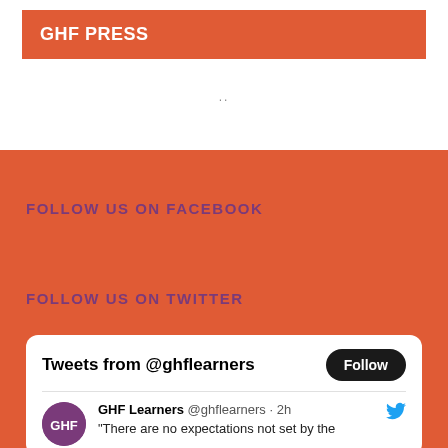GHF PRESS
..
FOLLOW US ON FACEBOOK
FOLLOW US ON TWITTER
[Figure (screenshot): Twitter/X widget card showing 'Tweets from @ghflearners' with a Follow button, GHF Learners avatar, handle @ghflearners · 2h, and partial tweet text: "There are no expectations not set by the"]